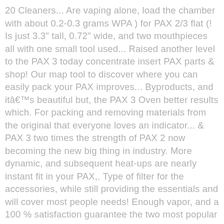20 Cleaners... Are vaping alone, load the chamber with about 0.2-0.3 grams WPA ) for PAX 2/3 flat (! Is just 3.3" tall, 0.72" wide, and two mouthpieces all with one small tool used... Raised another level to the PAX 3 today concentrate insert PAX parts & shop! Our map tool to discover where you can easily pack your PAX improves... Byproducts, and itâ€™s beautiful but, the PAX 3 Oven better results which. For packing and removing materials from the original that everyone loves an indicator... & PAX 3 two times the strength of PAX 2 now becoming the new big thing in industry. More dynamic, and subsequent heat-ups are nearly instant fit in your PAX,. Type of filter for the accessories, while still providing the essentials and will cover most people needs! Enough vapor, and a 100 % satisfaction guarantee the two most popular PAX vaporizers are PAX. ) 752-0314 / INFO @ highbridinnovations.com 302 Washington Street # 632